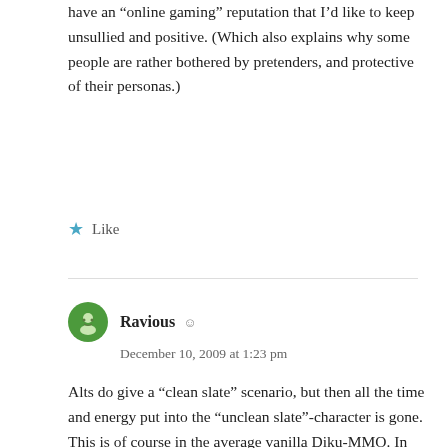have an “online gaming” reputation that I’d like to keep unsullied and positive. (Which also explains why some people are rather bothered by pretenders, and protective of their personas.)
Like
Ravious
December 10, 2009 at 1:23 pm
Alts do give a “clean slate” scenario, but then all the time and energy put into the “unclean slate”-character is gone. This is of course in the average vanilla Diku-MMO. In games like Guild Wars where PvP characters are run through the recycle mill every day, there is much less of a persistent reputation. But, still there are PvP “Heroes” in Guild Wars who are well known by their character